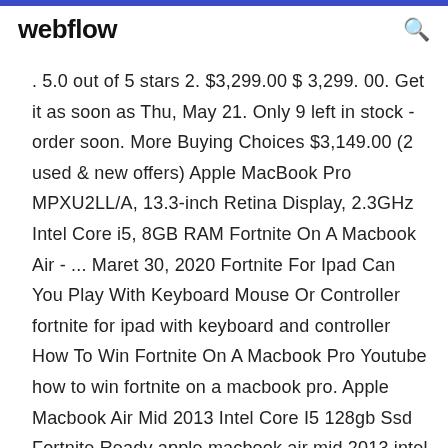webflow
. 5.0 out of 5 stars 2. $3,299.00 $ 3,299. 00. Get it as soon as Thu, May 21. Only 9 left in stock - order soon. More Buying Choices $3,149.00 (2 used & new offers) Apple MacBook Pro MPXU2LL/A, 13.3-inch Retina Display, 2.3GHz Intel Core i5, 8GB RAM Fortnite On A Macbook Air - ... Maret 30, 2020 Fortnite For Ipad Can You Play With Keyboard Mouse Or Controller fortnite for ipad with keyboard and controller How To Win Fortnite On A Macbook Pro Youtube how to win fortnite on a macbook pro. Apple Macbook Air Mid 2013 Intel Core I5 128gb Ssd Fortnite Ready apple macbook air mid 2013 intel core i5 128gb ssd fortnite ready. How To Play Fortnite On Mac Digital Trend help...